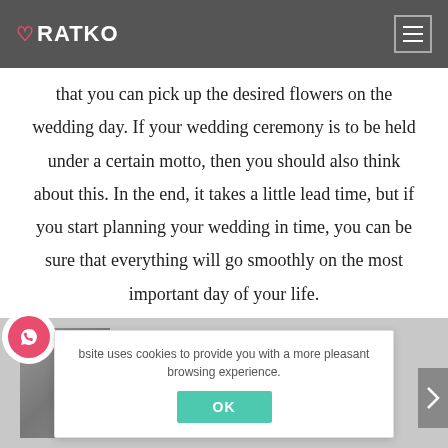RATKO
that you can pick up the desired flowers on the wedding day. If your wedding ceremony is to be held under a certain motto, then you should also think about this. In the end, it takes a little lead time, but if you start planning your wedding in time, you can be sure that everything will go smoothly on the most important day of your life.
This website uses cookies to provide you with a more pleasant browsing experience.
OK
Vesna & Filip
Previous